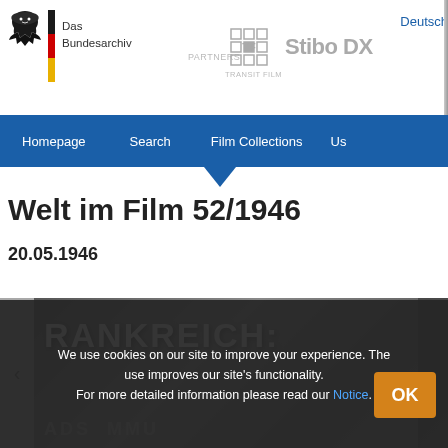Das Bundesarchiv | Partners | TRANSIT FILM | Stibo DX | Deutsch
[Figure (screenshot): Das Bundesarchiv website header with eagle logo, German flag stripe, partner logos (TRANSIT FILM, Stibo DX), and navigation bar with Homepage, Search, Film Collections, Us... menu items]
Welt im Film 52/1946
20.05.1946
[Figure (photo): Black and white film still showing text 'FRANKREICH:' in large white letters, with additional text partially visible below]
We use cookies on our site to improve your experience. The use improves our site's functionality.
For more detailed information please read our Notice.